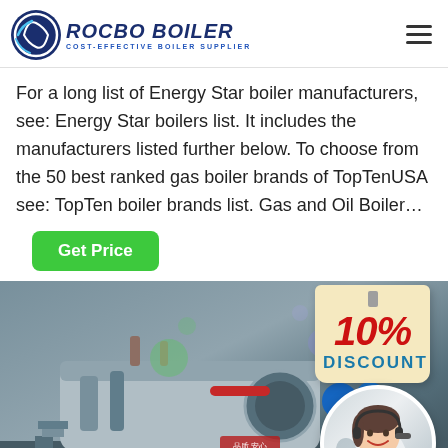ROCBO BOILER - COST-EFFECTIVE BOILER SUPPLIER
For a long list of Energy Star boiler manufacturers, see: Energy Star boilers list. It includes the manufacturers listed further below. To choose from the 50 best ranked gas boiler brands of TopTenUSA see: TopTen boiler brands list. Gas and Oil Boiler...
[Figure (photo): Industrial boiler equipment in a factory setting with pipes and machinery, with a 10% DISCOUNT promotional tag and a customer service agent in a circle overlay]
Get Price